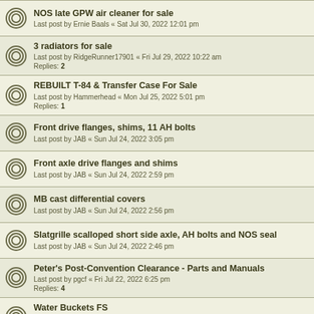NOS late GPW air cleaner for sale
Last post by Ernie Baals « Sat Jul 30, 2022 12:01 pm
3 radiators for sale
Last post by RidgeRunner17901 « Fri Jul 29, 2022 10:22 am
Replies: 2
REBUILT T-84 & Transfer Case For Sale
Last post by Hammerhead « Mon Jul 25, 2022 5:01 pm
Replies: 1
Front drive flanges, shims, 11 AH bolts
Last post by JAB « Sun Jul 24, 2022 3:05 pm
Front axle drive flanges and shims
Last post by JAB « Sun Jul 24, 2022 2:59 pm
MB cast differential covers
Last post by JAB « Sun Jul 24, 2022 2:56 pm
Slatgrille scalloped short side axle, AH bolts and NOS seal
Last post by JAB « Sun Jul 24, 2022 2:46 pm
Peter's Post-Convention Clearance - Parts and Manuals
Last post by pgcf « Fri Jul 22, 2022 6:25 pm
Replies: 4
Water Buckets FS
Last post by HankII « Thu Jul 21, 2022 6:51 am
Replies: 5
Field Cargo Packs FS
Last post by HankII « Wed Jul 20, 2022 8:39 am
Replies: 4
MB springs leaf
Last post by Adam « Sat Jul 16, 2022 7:59 pm